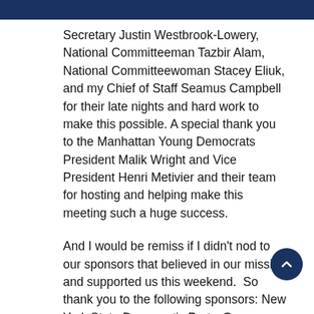Secretary Justin Westbrook-Lowery, National Committeeman Tazbir Alam, National Committeewoman Stacey Eliuk, and my Chief of Staff Seamus Campbell for their late nights and hard work to make this possible. A special thank you to the Manhattan Young Democrats President Malik Wright and Vice President Henri Metivier and their team for hosting and helping make this meeting such a huge success.
And I would be remiss if I didn't nod to our sponsors that believed in our mission and supported us this weekend.  So thank you to the following sponsors: New York State Democratic Party, Governor Andrew Cuomo, Comptroller Thomas DiNapoli, DNC Vice